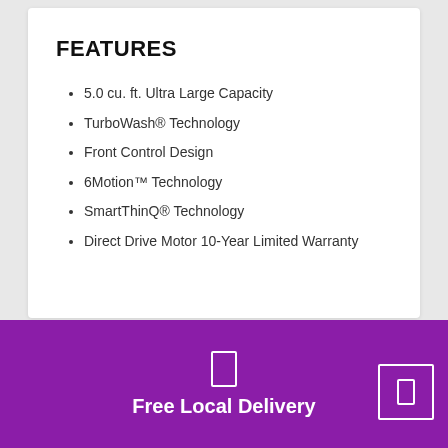FEATURES
5.0 cu. ft. Ultra Large Capacity
TurboWash® Technology
Front Control Design
6Motion™ Technology
SmartThinQ® Technology
Direct Drive Motor 10-Year Limited Warranty
Free Local Delivery